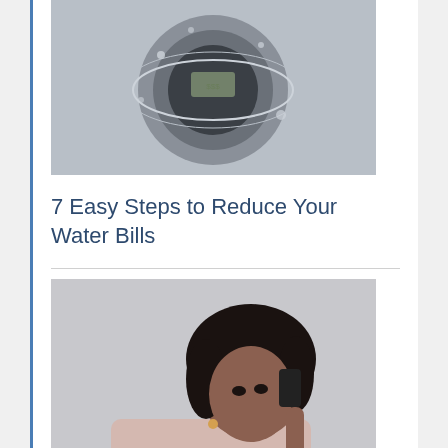[Figure (photo): Overhead view of money going down a drain with water splashing around it]
7 Easy Steps to Reduce Your Water Bills
[Figure (photo): A woman with curly hair talking on a phone while another person's hand extends towards her, cars in background]
6 Simple Tactics on How to Save Money on Car Insurance